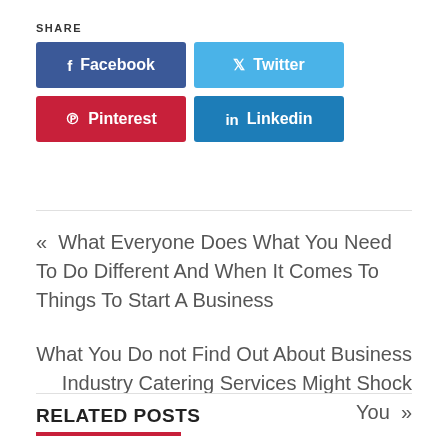SHARE
[Figure (infographic): Social share buttons: Facebook (dark blue), Twitter (light blue), Pinterest (dark red), Linkedin (medium blue)]
« What Everyone Does What You Need To Do Different And When It Comes To Things To Start A Business
What You Do not Find Out About Business Industry Catering Services Might Shock You »
RELATED POSTS